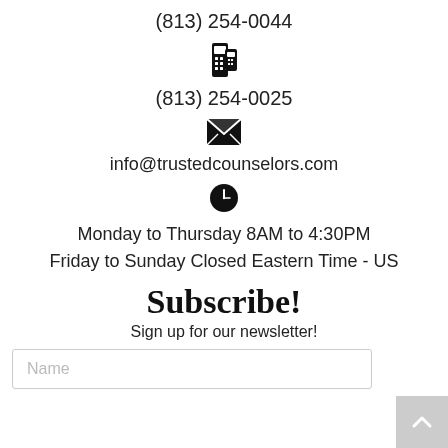(813) 254-0044
[Figure (other): Fax/document icon]
(813) 254-0025
[Figure (other): Envelope/email icon]
info@trustedcounselors.com
[Figure (other): Clock icon]
Monday to Thursday 8AM to 4:30PM
Friday to Sunday Closed Eastern Time - US
Subscribe!
Sign up for our newsletter!
Name